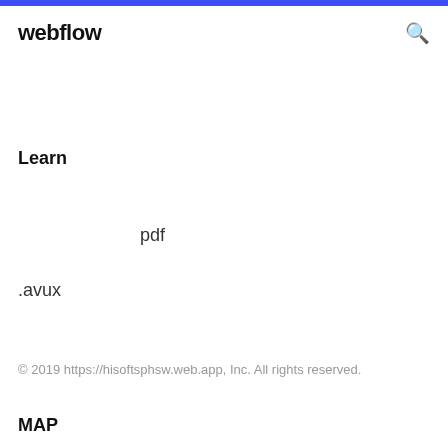webflow
Learn
pdf
.avux
© 2019 https://hisoftsphsw.web.app, Inc. All rights reserved.
MAP